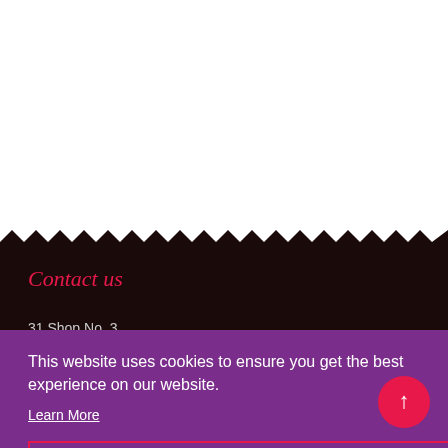[Figure (photo): Dark background section with zigzag top edge, showing a dark moody photo backdrop with a figure visible in the center]
Contact us
31 Shop No. 3
This website uses cookies to ensure you get the best experience on our website.
Learn More
Got it!